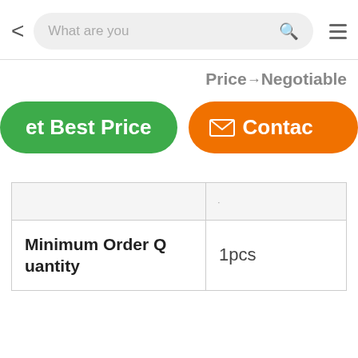[Figure (screenshot): Mobile app search bar with back arrow, search input showing 'What are you', magnifier icon, and hamburger menu]
Price→Negotiable
Get Best Price
Contact
| Minimum Order Quantity | 1pcs |